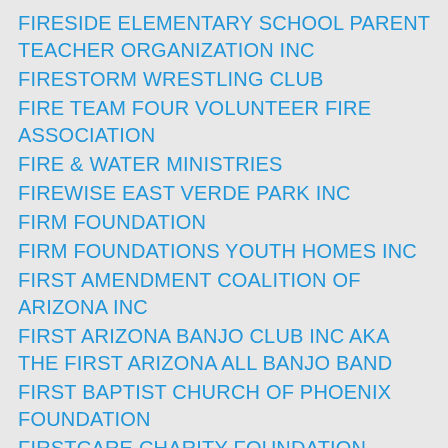FIRESIDE ELEMENTARY SCHOOL PARENT TEACHER ORGANIZATION INC
FIRESTORM WRESTLING CLUB
FIRE TEAM FOUR VOLUNTEER FIRE ASSOCIATION
FIRE & WATER MINISTRIES
FIREWISE EAST VERDE PARK INC
FIRM FOUNDATION
FIRM FOUNDATIONS YOUTH HOMES INC
FIRST AMENDMENT COALITION OF ARIZONA INC
FIRST ARIZONA BANJO CLUB INC AKA THE FIRST ARIZONA ALL BANJO BAND
FIRST BAPTIST CHURCH OF PHOENIX FOUNDATION
FIRSTCARE CHARITY FOUNDATION
FIRST CHRISTIAN CHURCH OF PHOENIX ARIZONA
FIRST CHRISTIAN CHURCH OF SUN CITY
FIRST COMMUNITY HAITIAN MINISTRY CHURCH